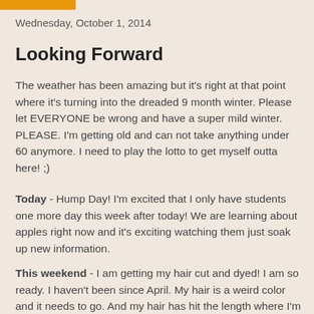Wednesday, October 1, 2014
Looking Forward
The weather has been amazing but it's right at that point where it's turning into the dreaded 9 month winter.  Please let EVERYONE be wrong and have a super mild winter.  PLEASE.  I'm getting old and can not take anything under 60 anymore.  I need to play the lotto to get myself outta here! ;)
Today - Hump Day! I'm excited that I only have students one more day this week after today! We are learning about apples right now and it's exciting watching them just soak up new information.
This weekend - I am getting my hair cut and dyed! I am so ready.  I haven't been since April.  My hair is a weird color and it needs to go.  And my hair has hit the length where I'm always like CHOP IT OFF! I can't decide if I want to do 3 inches or four.  I know I want a dark brown color with no red